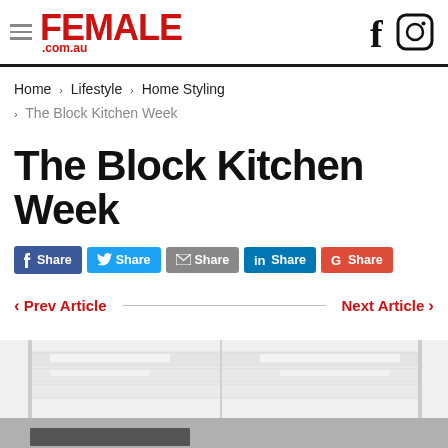FEMALE.com.au
Home › Lifestyle › Home Styling › The Block Kitchen Week
The Block Kitchen Week
Share Share Share Share Share
< Prev Article   Next Article >
[Figure (photo): Interior kitchen photo showing white ceiling with recessed lighting panels, partially cropped]